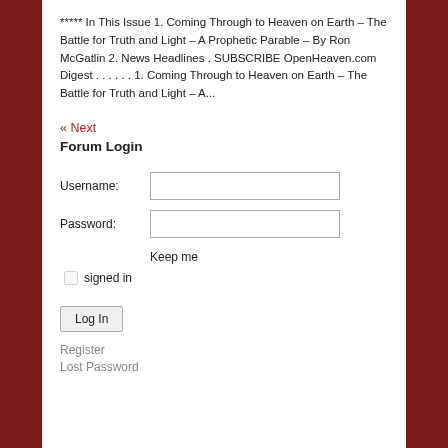***** In This Issue 1. Coming Through to Heaven on Earth – The Battle for Truth and Light – A Prophetic Parable – By Ron McGatlin 2. News Headlines . SUBSCRIBE OpenHeaven.com Digest . . . . . . 1. Coming Through to Heaven on Earth – The Battle for Truth and Light – A...
« Next
Forum Login
Username:
Password:
Keep me signed in
Log In
Register
Lost Password